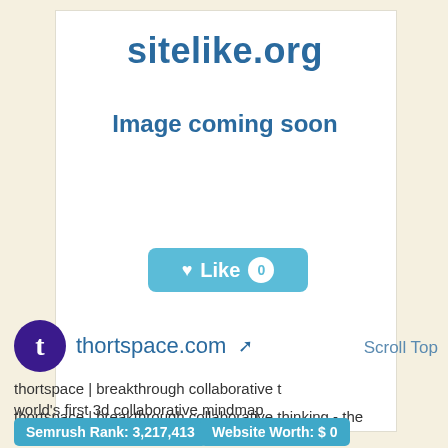sitelike.org
Image coming soon
[Figure (other): Like button with heart icon and count of 0]
[Figure (logo): thortspace.com logo - purple circle with white letter t]
thortspace.com
Scroll Top
thortspace | breakthrough collaborative thinking - the world's first 3d collaborative mindmap
thortspace | breakthrough collaborative thinking - the world's first 3d collaborative mindmap
Semrush Rank: 3,217,413
Website Worth: $ 0